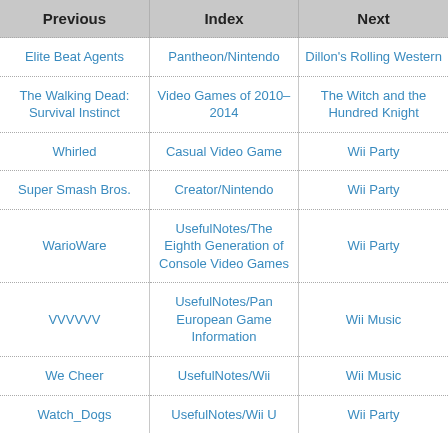| Previous | Index | Next |
| --- | --- | --- |
| Elite Beat Agents | Pantheon/Nintendo | Dillon's Rolling Western |
| The Walking Dead: Survival Instinct | Video Games of 2010–2014 | The Witch and the Hundred Knight |
| Whirled | Casual Video Game | Wii Party |
| Super Smash Bros. | Creator/Nintendo | Wii Party |
| WarioWare | UsefulNotes/The Eighth Generation of Console Video Games | Wii Party |
| VVVVVV | UsefulNotes/Pan European Game Information | Wii Music |
| We Cheer | UsefulNotes/Wii | Wii Music |
| Watch_Dogs | UsefulNotes/Wii U | Wii Party |